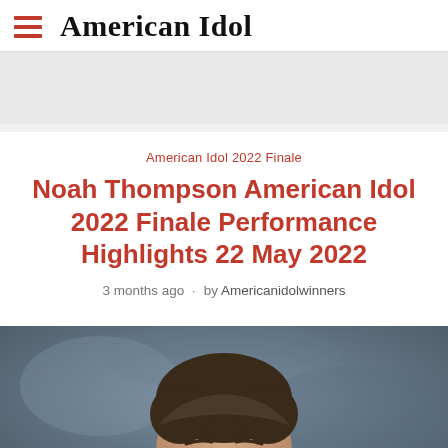American Idol
[Figure (other): Gray advertisement banner placeholder area]
American Idol 2022 Finale
Noah Thompson American Idol 2022 Finale Performance Highlights 22 May 2022
3 months ago · by Americanidolwinners
[Figure (photo): Photo of Noah Thompson, a young man with short brown hair, against a blurred blue-gray background. A 'Like' button widget and scroll-to-top arrow are overlaid at the bottom right.]